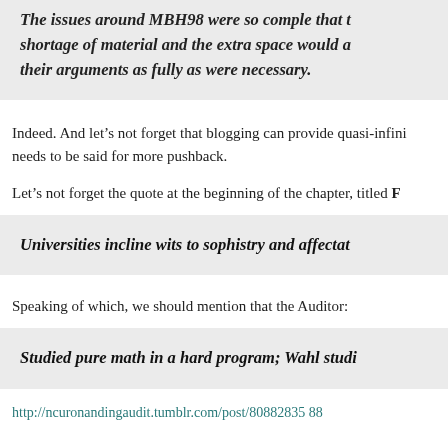The issues around MBH98 were so comple that shortage of material and the extra space would a their arguments as fully as were necessary.
Indeed. And let's not forget that blogging can provide quasi-infini needs to be said for more pushback.
Let's not forget the quote at the beginning of the chapter, titled F
Universities incline wits to sophistry and affectat
Speaking of which, we should mention that the Auditor:
Studied pure math in a hard program; Wahl studi
http://ncuronandingaudit.tumblr.com/post/80882835 88